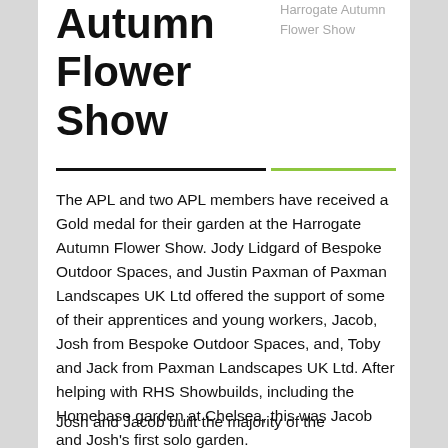Autumn Flower Show
Harrogate Autumn Flower Show
The APL and two APL members have received a Gold medal for their garden at the Harrogate Autumn Flower Show. Jody Lidgard of Bespoke Outdoor Spaces, and Justin Paxman of Paxman Landscapes UK Ltd offered the support of some of their apprentices and young workers, Jacob, Josh from Bespoke Outdoor Spaces, and, Toby and Jack from Paxman Landscapes UK Ltd. After helping with RHS Showbuilds, including the Homebase garden at Chelsea, this was Jacob and Josh's first solo garden.
Josh and Jacob built the majority of the